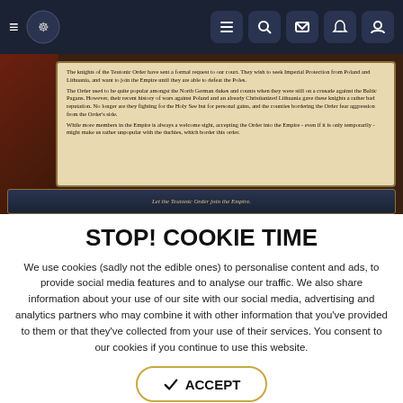Navigation bar with hamburger menu, logo, and icons for list, search, mail, notifications, account
[Figure (screenshot): Screenshot of a game UI showing a parchment with text about the Teutonic Order requesting Imperial Protection, with action button 'Let the Teutonic Order join the Empire.']
STOP! COOKIE TIME
We use cookies (sadly not the edible ones) to personalise content and ads, to provide social media features and to analyse our traffic. We also share information about your use of our site with our social media, advertising and analytics partners who may combine it with other information that you've provided to them or that they've collected from your use of their services. You consent to our cookies if you continue to use this website.
✓ ACCEPT